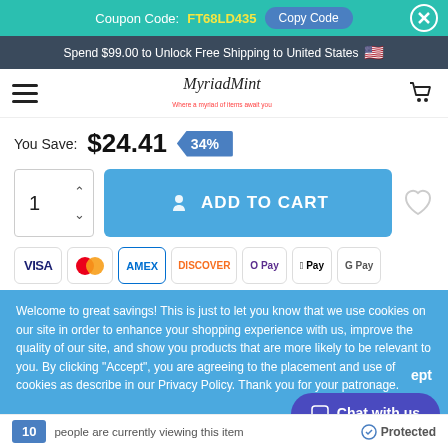Coupon Code: FT68LD435 Copy Code
Spend $99.00 to Unlock Free Shipping to United States 🇺🇸
[Figure (logo): MyriadMint store logo with hamburger menu and cart icon]
You Save: $24.41 34%
[Figure (infographic): Quantity selector showing 1, Add to Cart button, and wishlist heart icon. Payment icons: VISA, Mastercard, AMEX, Discover, O Pay, Apple Pay, G Pay]
Welcome to great savings! This is just to let you know that we use cookies on our site in order to enhance your shopping experience with us, improve the quality of our site, and show you products that are more likely to be relevant to you. By clicking "Accept", you are agreeing to the placement and use of cookies as describe in our Privacy Policy. Thank you for your patronage.
10 people are currently viewing this item Protected